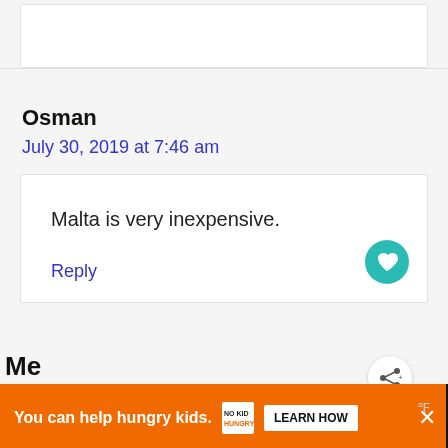(partial comment box, top of page)
Osman
July 30, 2019 at 7:46 am
Malta is very inexpensive.
Reply
You can help hungry kids.  NO KID HUNGRY  LEARN HOW